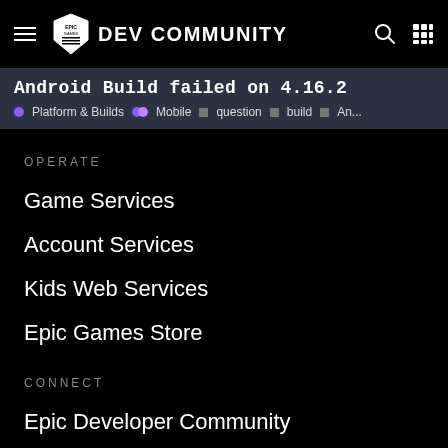Epic Games Dev Community
Android Build failed on 4.16.2
Platform & Builds  Mobile  question  build  An...
OPERATE
Game Services
Account Services
Kids Web Services
Epic Games Store
CONNECT
Epic Developer Community
ArtStation